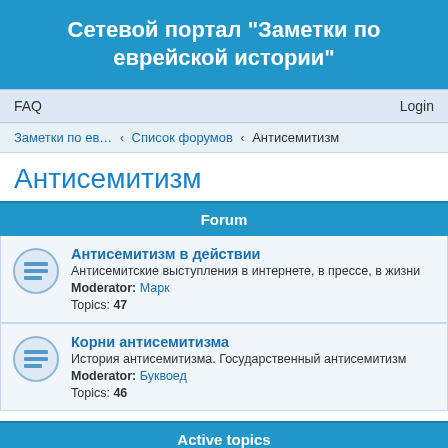Сетевой портал "Заметки по еврейской истории"
FAQ   Login
Заметки по ев… ‹ Список форумов ‹ Антисемитизм
Антисемитизм
| Forum |
| --- |
| Антисемитизм в действии | Антисемитские выступления в интернете, в прессе, в жизни | Moderator: Марк | Topics: 47 |
| Корни антисемитизма | История антисемитизма. Государственный антисемитизм | Moderator: Буквоед | Topics: 46 |
Active topics
…и то и дело свеча горела...